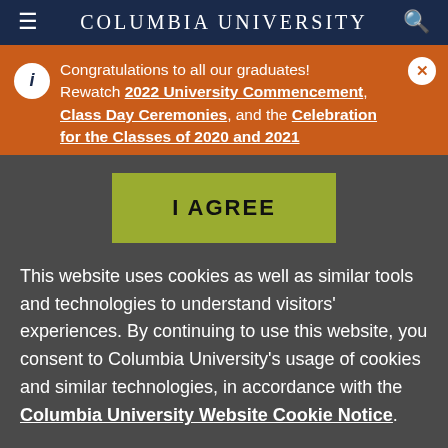Columbia University
Congratulations to all our graduates! Rewatch 2022 University Commencement, Class Day Ceremonies, and the Celebration for the Classes of 2020 and 2021
[Figure (screenshot): I AGREE button in olive/yellow-green color]
This website uses cookies as well as similar tools and technologies to understand visitors' experiences. By continuing to use this website, you consent to Columbia University's usage of cookies and similar technologies, in accordance with the Columbia University Website Cookie Notice.